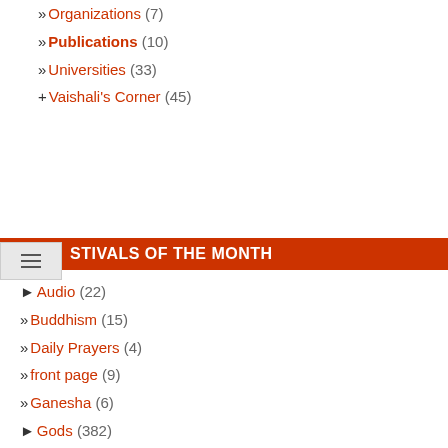» Organizations (7)
» Publications (10)
» Universities (33)
+ Vaishali's Corner (45)
FESTIVALS OF THE MONTH
► Audio (22)
» Buddhism (15)
» Daily Prayers (4)
» front page (9)
» Ganesha (6)
► Gods (382)
► Gurus (1049)
► Healthy Living (8)
► Hindu Lifestyle (455)
► Hindu Scriptures (585)
» History (4)
» Jainism (6)
► Media Center (27)